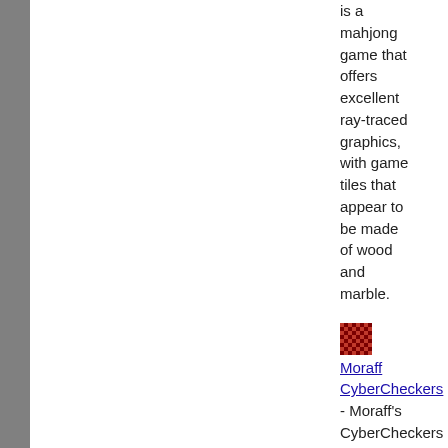is a mahjong game that offers excellent ray-traced graphics, with game tiles that appear to be made of wood and marble.
[Figure (illustration): Small checkerboard icon in red and dark red/black pattern, approximately 32x32 pixels]
Moraff CyberCheckers - Moraff's CyberCheckers brings the traditional checkers game right into the 21st century. Change backgrounds, change play pieces, set your mood with colors. Play full screen or